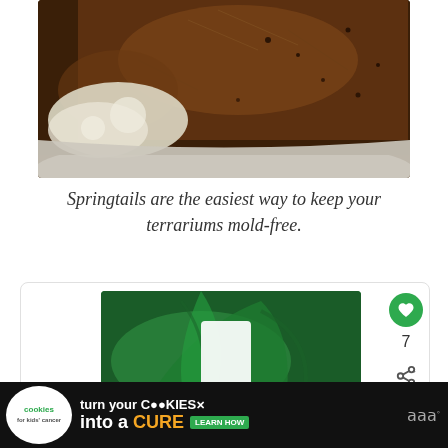[Figure (photo): Close-up photo of springtails in a white container with dark brown substrate/soil mix and white powdery material, viewed from above.]
Springtails are the easiest way to keep your terrariums mold-free.
[Figure (photo): A card UI element showing a green tropical leaf background image with a white card/bookmark icon, a green heart/like button showing count 7, and a share button on the right side.]
[Figure (infographic): Advertisement banner: 'cookies for kids cancer — turn your COOKIES into a CURE LEARN HOW' on a black background, with a white circular badge on the left and a close button and M-dot icon on the right.]